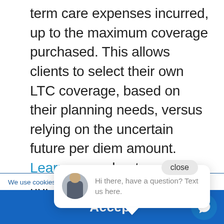term care expenses incurred, up to the maximum coverage purchased. This allows clients to select their own LTC coverage, based on their planning needs, versus relying on the uncertain future per diem amount. Learn more about our LTC rider and stay tuned for upcoming blogs and discussions on this im…
close
[Figure (other): Chat widget with avatar of a man in a suit, text: Hi there, have a question? Text us here.]
We use cookies to op…
Accept